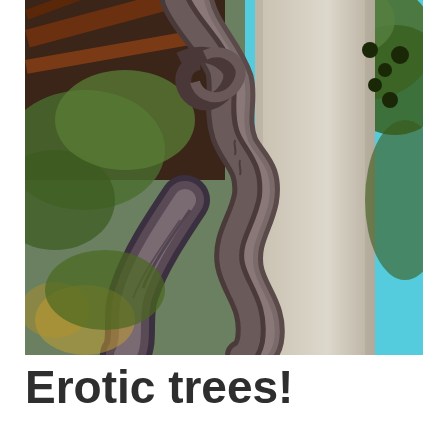[Figure (photo): Upward-angle photograph of twisted vine or fig tree roots wrapping around a large pale smooth tree trunk, with green foliage and blue sky visible in the background on the right, and wooden beams/roof structure on the left.]
Erotic trees!